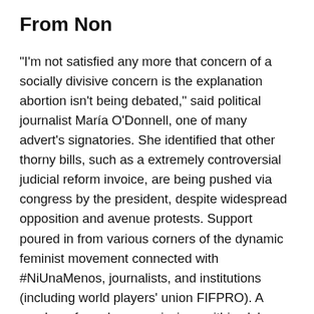From Non
“I’m not satisfied any more that concern of a socially divisive concern is the explanation abortion isn’t being debated,” said political journalist María O’Donnell, one of many advert’s signatories. She identified that other thorny bills, such as a extremely controversial judicial reform invoice, are being pushed via congress by the president, despite widespread opposition and avenue protests. Support poured in from various corners of the dynamic feminist movement connected with #NiUnaMenos, journalists, and institutions (including world players’ union FIFPRO). A number of gender commissions within clubs, which have fashioned throughout the nation, voiced their help for Sánchez’s case.